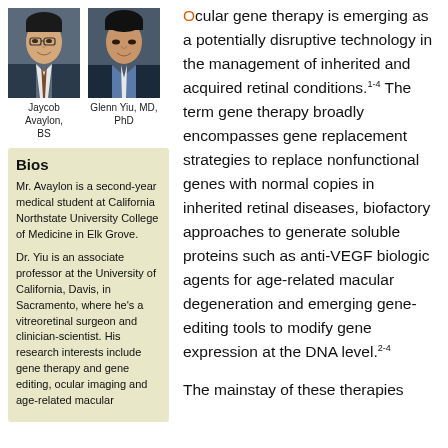[Figure (photo): Headshot of Jaycob Avaylon, BS]
Jaycob Avaylon, BS
[Figure (photo): Headshot of Glenn Yiu, MD, PhD]
Glenn Yiu, MD, PhD
Bios
Mr. Avaylon is a second-year medical student at California Northstate University College of Medicine in Elk Grove.
Dr. Yiu is an associate professor at the University of California, Davis, in Sacramento, where he's a vitreoretinal surgeon and clinician-scientist. His research interests include gene therapy and gene editing, ocular imaging and age-related macular
Ocular gene therapy is emerging as a potentially disruptive technology in the management of inherited and acquired retinal conditions.1-4 The term gene therapy broadly encompasses gene replacement strategies to replace nonfunctional genes with normal copies in inherited retinal diseases, biofactory approaches to generate soluble proteins such as anti-VEGF biologic agents for age-related macular degeneration and emerging gene-editing tools to modify gene expression at the DNA level.2-4
The mainstay of these therapies